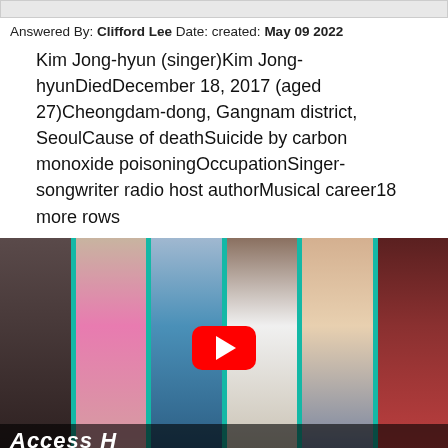Answered By: Clifford Lee Date: created: May 09 2022
Kim Jong-hyun (singer)Kim Jong-hyunDiedDecember 18, 2017 (aged 27)Cheongdam-dong, Gangnam district, SeoulCause of deathSuicide by carbon monoxide poisoningOccupationSinger-songwriter radio host authorMusical career18 more rows
[Figure (screenshot): YouTube video thumbnail showing multiple celebrities in a collage-style strip with teal dividers and a YouTube play button in the center. An 'Access' watermark appears at the bottom.]